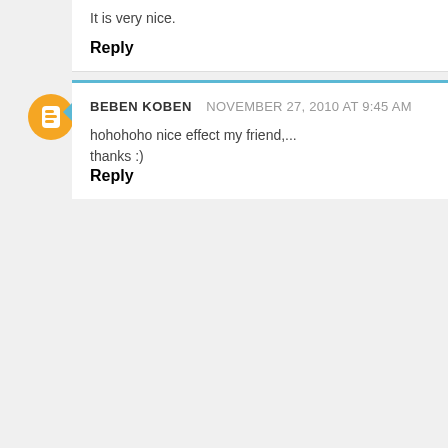It is very nice.
Reply
BEBEN KOBEN  NOVEMBER 27, 2010 AT 9:45 AM
hohohoho nice effect my friend,... thanks :)
Reply